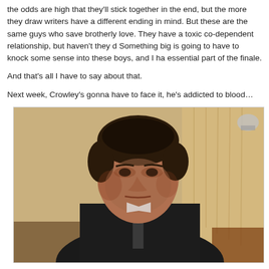the odds are high that they'll stick together in the end, but the more they draw writers have a different ending in mind. But these are the same guys who save brotherly love. They have a toxic co-dependent relationship, but haven't they d Something big is going to have to knock some sense into these boys, and I ha essential part of the finale.
And that's all I have to say about that.
Next week, Crowley's gonna have to face it, he's addicted to blood…
[Figure (photo): A man in a dark suit and tie sitting down, looking to the side with a serious expression. The background shows warm-toned curtains and wood furniture.]